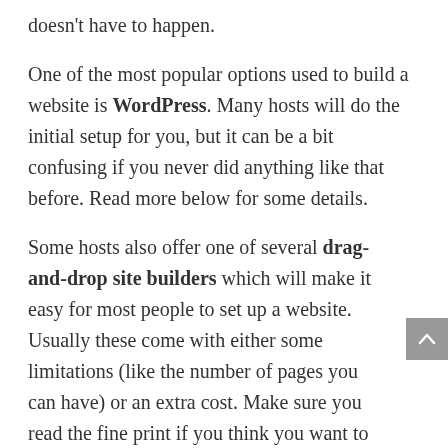doesn't have to happen.
One of the most popular options used to build a website is WordPress. Many hosts will do the initial setup for you, but it can be a bit confusing if you never did anything like that before. Read more below for some details.
Some hosts also offer one of several drag-and-drop site builders which will make it easy for most people to set up a website. Usually these come with either some limitations (like the number of pages you can have) or an extra cost. Make sure you read the fine print if you think you want to use one of these.